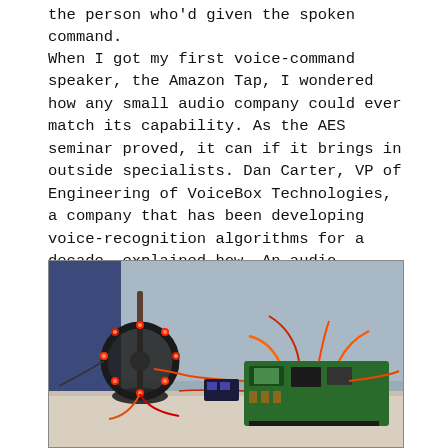the person who'd given the spoken command.
When I got my first voice-command speaker, the Amazon Tap, I wondered how any small audio company could ever match its capability. As the AES seminar proved, it can if it brings in outside specialists. Dan Carter, VP of Engineering of VoiceBox Technologies, a company that has been developing voice-recognition algorithms for a decade, explained how. An audio company can't do this on its own because, as Carter explained, "They're tapping an aggregation of web services from multiple vendors." Doing anything beyond basic commands such as "Volume up" requires the device to access cloud computing resources and databases through the Internet. And, of course, most or all of the content the speaker will be playing is sourced through the Internet from such services as Amazon Music, Pandora, and Spotify.
[Figure (photo): Photo of electronics hardware on a table: a circular LED ring device on the left with red LEDs illuminated, connected by wires, and a green circuit board on the right with orange/red wiring. Background shows a dark blue fabric on the left and grey wall.]